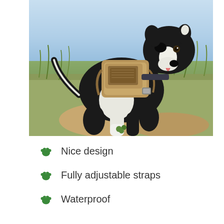[Figure (photo): A black and white Border Collie dog wearing a tan/khaki tactical vest or dog backpack, standing on a grassy hillside with a light blue sky in the background.]
Nice design
Fully adjustable straps
Waterproof